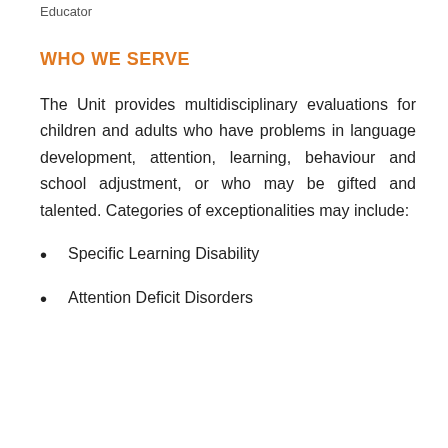Educator
WHO WE SERVE
The Unit provides multidisciplinary evaluations for children and adults who have problems in language development, attention, learning, behaviour and school adjustment, or who may be gifted and talented. Categories of exceptionalities may include:
Specific Learning Disability
Attention Deficit Disorders